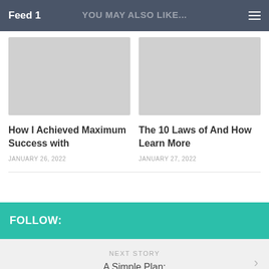Feed 1
YOU MAY ALSO LIKE...
[Figure (photo): Gray placeholder image for first article card]
How I Achieved Maximum Success with
JANUARY 26, 2022
[Figure (photo): Gray placeholder image for second article card]
The 10 Laws of And How Learn More
JANUARY 27, 2022
FOLLOW:
NEXT STORY
A Simple Plan: